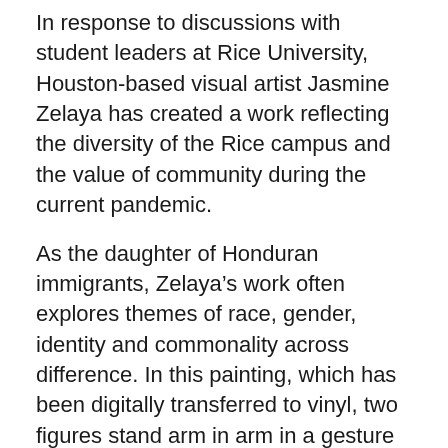In response to discussions with student leaders at Rice University, Houston-based visual artist Jasmine Zelaya has created a work reflecting the diversity of the Rice campus and the value of community during the current pandemic.
As the daughter of Honduran immigrants, Zelaya's work often explores themes of race, gender, identity and commonality across difference. In this painting, which has been digitally transferred to vinyl, two figures stand arm in arm in a gesture of friendship and connectivity at a moment when COVID-19 has necessarily limited human contact. Petals adorn the hair and faces of the figures, and pink blossoms populate the background. This motif is both universal, a symbol of growth and renewal, and personal, since all the women in Zelaya's family are named after flowers. Acting as visual metaphors for matriarchal